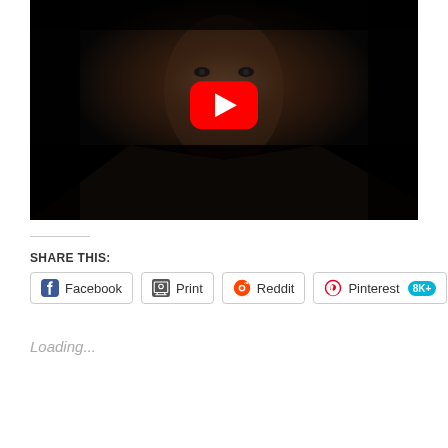[Figure (screenshot): YouTube video thumbnail showing a dark, dramatic close-up of a person's face with a red YouTube play button overlay in the center.]
SHARE THIS:
Facebook
Print
Reddit
Pinterest 8K+
Loading...